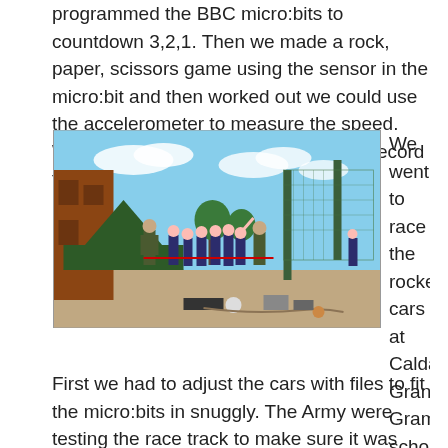programmed the BBC micro:bits to countdown 3,2,1. Then we made a rock, paper, scissors game using the sensor in the micro:bit and then worked out we could use the accelerometer to measure the speed. We then programmed the micro:bit to record the cars speed.
[Figure (photo): Students and soldiers in camouflage uniforms outdoors in a school yard, with a green tent on the left and wire fencing in the background, apparently participating in a rocket car racing event.]
We went to race the rocket cars at Calday Grange Grammar school where other schools were meeting. First we had to adjust the cars with files to fit the micro:bits in snuggly. The Army were testing the race track to make sure it was